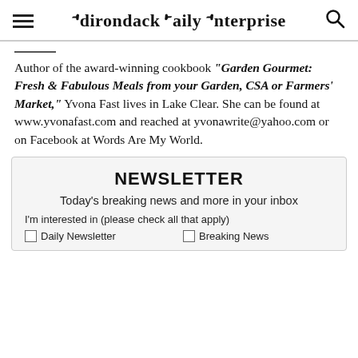Adirondack Daily Enterprise
Author of the award-winning cookbook “Garden Gourmet: Fresh & Fabulous Meals from your Garden, CSA or Farmers’ Market,” Yvona Fast lives in Lake Clear. She can be found at www.yvonafast.com and reached at yvonawrite@yahoo.com or on Facebook at Words Are My World.
NEWSLETTER
Today's breaking news and more in your inbox
I'm interested in (please check all that apply)
Daily Newsletter
Breaking News